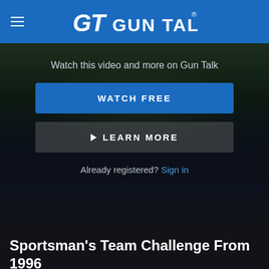GT GUN TALK®
[Figure (screenshot): Dark blurred video background showing shooting range or outdoor sporting event scene]
Watch this video and more on Gun Talk
WATCH FREE
▶ LEARN MORE
Already registered? Sign in
Sportsman's Team Challenge From 1996
Classic Videos • 27m